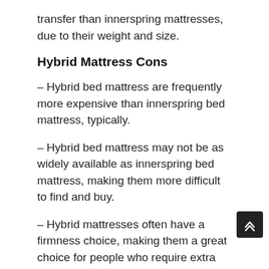transfer than innerspring mattresses, due to their weight and size.
Hybrid Mattress Cons
– Hybrid bed mattress are frequently more expensive than innerspring bed mattress, typically.
– Hybrid bed mattress may not be as widely available as innerspring bed mattress, making them more difficult to find and buy.
– Hybrid mattresses often have a firmness choice, making them a great choice for people who require extra assistance.
Innerspring bed mattress firmness levels can vary from really soft to extremely firm, while hybrid mattresses tend to be on the firmer side. Innerspring mattresses are likewise more economical than